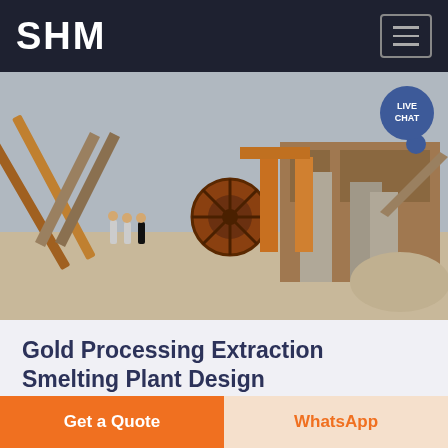SHM
[Figure (photo): Industrial gold processing/crushing plant with large machinery, conveyor belts, and workers standing in foreground]
Gold Processing Extraction Smelting Plant Design
Gold ore Prominer maintains a team of senior gold processing engineers with expertise and
Get a Quote
WhatsApp